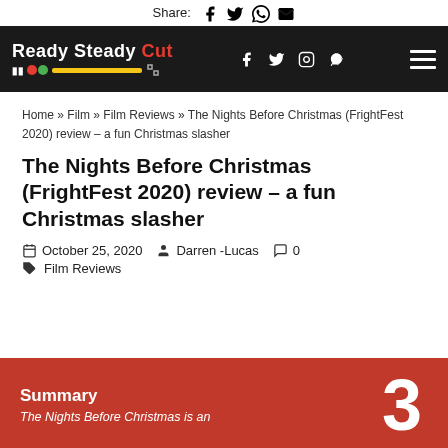Share: [social icons: Facebook, Twitter, WhatsApp, Email]
Ready Steady Cut [logo bar] [social icons: Facebook, Twitter, Instagram, RSS] [menu]
Home » Film » Film Reviews » The Nights Before Christmas (FrightFest 2020) review – a fun Christmas slasher
The Nights Before Christmas (FrightFest 2020) review – a fun Christmas slasher
October 25, 2020  Darren -Lucas  0  Film Reviews
Summary
The Nights Before Christmas is an
3